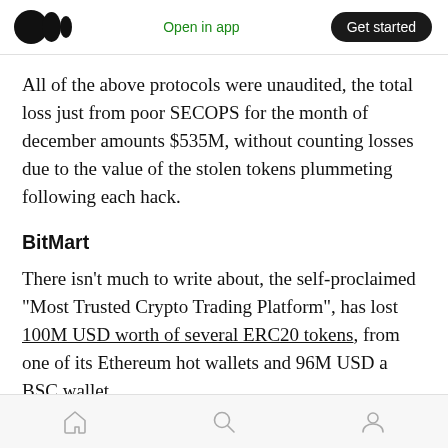Open in app | Get started
All of the above protocols were unaudited, the total loss just from poor SECOPS for the month of december amounts $535M, without counting losses due to the value of the stolen tokens plummeting following each hack.
BitMart
There isn't much to write about, the self-proclaimed “Most Trusted Crypto Trading Platform”, has lost 100M USD worth of several ERC20 tokens, from one of its Ethereum hot wallets and 96M USD a BSC wallet.
Home | Search | Profile